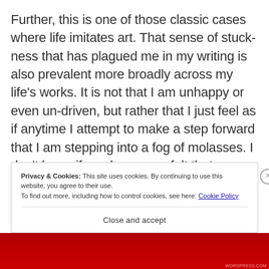Further, this is one of those classic cases where life imitates art.  That sense of stuck-ness that has plagued me in my writing is also prevalent more broadly across my life's works.  It is not that I am unhappy or even un-driven, but rather that I just feel as if anytime I attempt to make a step forward that I am stepping into a fog of molasses.  I don't know if you have ever felt that w... o...
Privacy & Cookies: This site uses cookies. By continuing to use this website, you agree to their use.
To find out more, including how to control cookies, see here: Cookie Policy
Close and accept